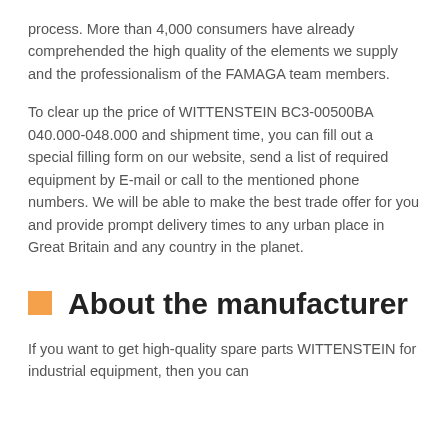process. More than 4,000 consumers have already comprehended the high quality of the elements we supply and the professionalism of the FAMAGA team members.
To clear up the price of WITTENSTEIN BC3-00500BA 040.000-048.000 and shipment time, you can fill out a special filling form on our website, send a list of required equipment by E-mail or call to the mentioned phone numbers. We will be able to make the best trade offer for you and provide prompt delivery times to any urban place in Great Britain and any country in the planet.
About the manufacturer
If you want to get high-quality spare parts WITTENSTEIN for industrial equipment, then you can